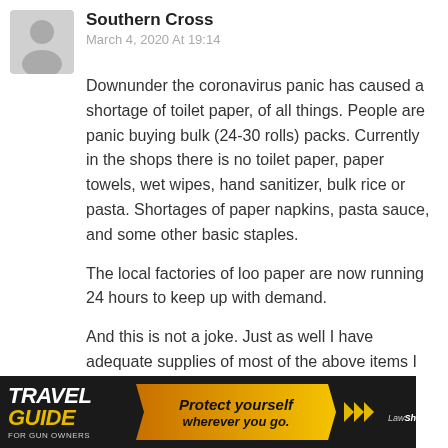Southern Cross
March 4, 2020 At 19:14
Downunder the coronavirus panic has caused a shortage of toilet paper, of all things. People are panic buying bulk (24-30 rolls) packs. Currently in the shops there is no toilet paper, paper towels, wet wipes, hand sanitizer, bulk rice or pasta. Shortages of paper napkins, pasta sauce, and some other basic staples.

The local factories of loo paper are now running 24 hours to keep up with demand.

And this is not a joke. Just as well I have adequate supplies of most of the above items I need.
[Figure (other): Advertisement banner: Travel Guide For Gun Owners - Protect yourself wherever you go. LawShield logo.]